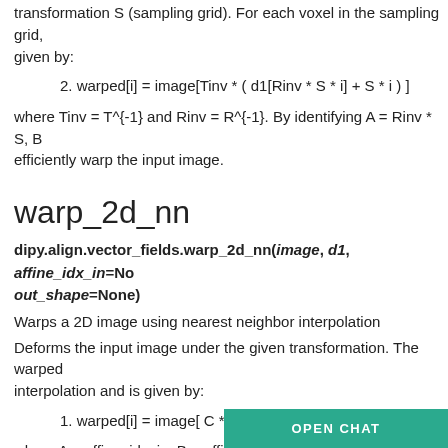transformation S (sampling grid). For each voxel in the sampling grid, given by:
2. warped[i] = image[Tinv * ( d1[Rinv * S * i] + S * i ) ]
where Tinv = T^{-1} and Rinv = R^{-1}. By identifying A = Rinv * S, B = ... efficiently warp the input image.
warp_2d_nn
dipy.align.vector_fields.warp_2d_nn(image, d1, affine_idx_in=None, out_shape=None)
Warps a 2D image using nearest neighbor interpolation
Deforms the input image under the given transformation. The warped image is computed using nearest neighbor interpolation and is given by:
1. warped[i] = image[ C * d1[A*i] + B*i ]
where A = affine_idx_in, B = affine_idx_out, C = affine_disp and i denotes the sampling grid of shape = out_shape.